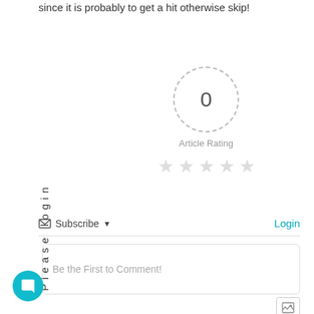since it is probably to get a hit otherwise skip!
Please login
[Figure (other): Article rating widget showing a dashed circle with '0' inside, label 'Article Rating', and five empty gray stars below]
Subscribe ▼   Login
Be the First to Comment!
[Figure (other): Image/photo icon button in bottom right]
[Figure (other): Teal chat bubble button in bottom left corner]